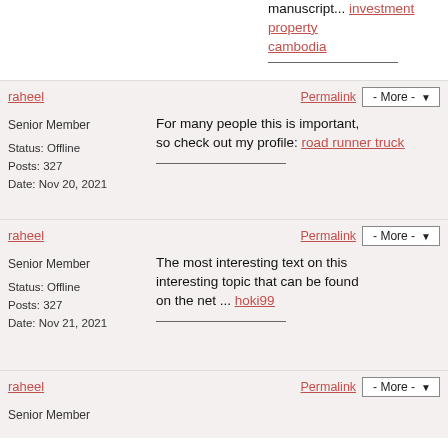manuscript... investment property cambodia
raheel
Permalink  - More -
Senior Member
Status: Offline
Posts: 327
Date: Nov 20, 2021
For many people this is important, so check out my profile: road runner truck
raheel
Permalink  - More -
Senior Member
Status: Offline
Posts: 327
Date: Nov 21, 2021
The most interesting text on this interesting topic that can be found on the net ... hoki99
raheel
Permalink  - More -
Senior Member